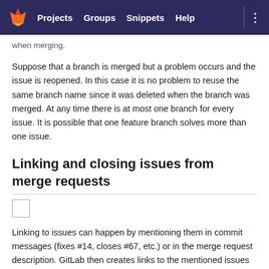Projects   Groups   Snippets   Help
when merging.
Suppose that a branch is merged but a problem occurs and the issue is reopened. In this case it is no problem to reuse the same branch name since it was deleted when the branch was merged. At any time there is at most one branch for every issue. It is possible that one feature branch solves more than one issue.
Linking and closing issues from merge requests
[Figure (other): Small checkbox or image placeholder icon]
Linking to issues can happen by mentioning them in commit messages (fixes #14, closes #67, etc.) or in the merge request description. GitLab then creates links to the mentioned issues and creates comments in the corresponding issues linking back to the merge request.
These issues are closed once code is merged into the default